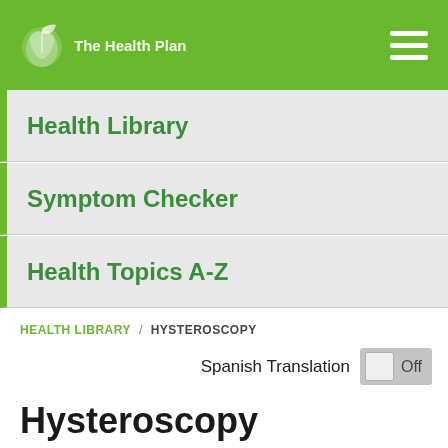The Health Plan
Health Library
Symptom Checker
Health Topics A-Z
HEALTH LIBRARY / HYSTEROSCOPY
Spanish Translation Off
Hysteroscopy